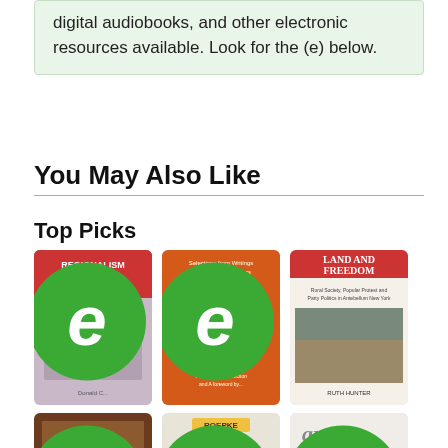digital audiobooks, and other electronic resources available. Look for the (e) below.
You May Also Like
Top Picks
[Figure (illustration): Book cover: Regionalism and Nationalism in the United States with green e-badge]
[Figure (illustration): Book cover: The Essential Calhoun - Selections from Writings Speeches and Letters, orange cover with green e-badge]
[Figure (illustration): Book cover: Land and Freedom]
[Figure (illustration): Book cover: America's British Culture with green e-badge]
[Figure (illustration): Book cover: The Natural Law of Civil Society by Roepke with green e-badge]
[Figure (illustration): Book cover: ar with green e-badge]